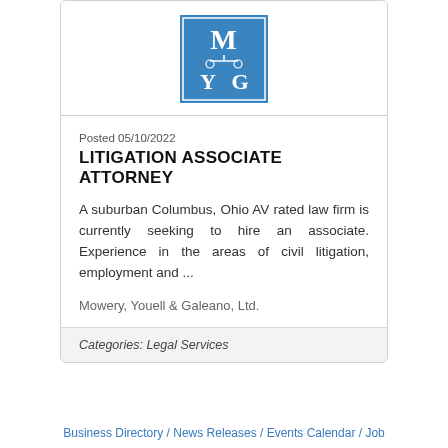[Figure (logo): MYG law firm logo — blue rectangle with white letters M, Y, G and a scale/balance icon]
Posted 05/10/2022
LITIGATION ASSOCIATE ATTORNEY
A suburban Columbus, Ohio AV rated law firm is currently seeking to hire an associate. Experience in the areas of civil litigation, employment and ...
Mowery, Youell & Galeano, Ltd.
Categories: Legal Services
Business Directory / News Releases / Events Calendar / Job